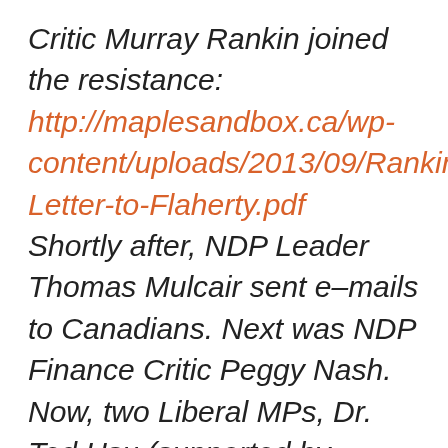Critic Murray Rankin joined the resistance: http://maplesandbox.ca/wp-content/uploads/2013/09/Rankin-Letter-to-Flaherty.pdf Shortly after, NDP Leader Thomas Mulcair sent e–mails to Canadians. Next was NDP Finance Critic Peggy Nash. Now, two Liberal MPs, Dr. Ted Hsu (supported by former justice Minister, former law professor and international law and human